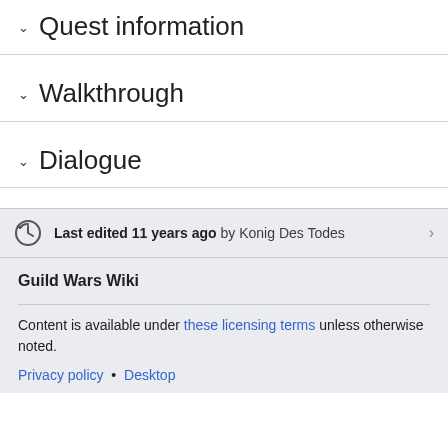Quest information
Walkthrough
Dialogue
Last edited 11 years ago by Konig Des Todes
Guild Wars Wiki
Content is available under these licensing terms unless otherwise noted.
Privacy policy • Desktop